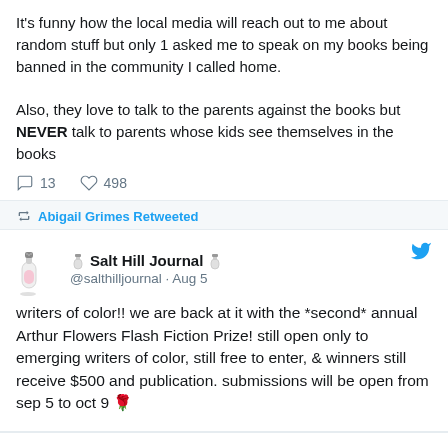It's funny how the local media will reach out to me about random stuff but only 1 asked me to speak on my books being banned in the community I called home.

Also, they love to talk to the parents against the books but NEVER talk to parents whose kids see themselves in the books
13   498
Abigail Grimes Retweeted
Salt Hill Journal @salthilljournal · Aug 5
writers of color!! we are back at it with the *second* annual Arthur Flowers Flash Fiction Prize! still open only to emerging writers of color, still free to enter, & winners still receive $500 and publication. submissions will be open from sep 5 to oct 9 🌹